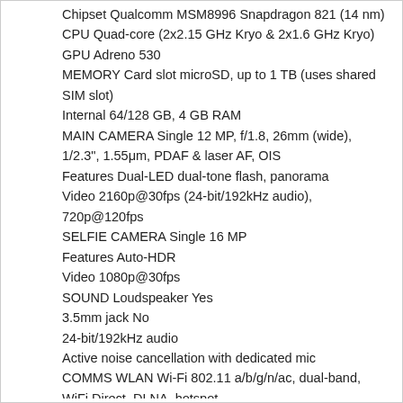Chipset Qualcomm MSM8996 Snapdragon 821 (14 nm)
CPU Quad-core (2x2.15 GHz Kryo & 2x1.6 GHz Kryo)
GPU Adreno 530
MEMORY Card slot microSD, up to 1 TB (uses shared SIM slot)
Internal 64/128 GB, 4 GB RAM
MAIN CAMERA Single 12 MP, f/1.8, 26mm (wide), 1/2.3", 1.55μm, PDAF & laser AF, OIS
Features Dual-LED dual-tone flash, panorama
Video 2160p@30fps (24-bit/192kHz audio), 720p@120fps
SELFIE CAMERA Single 16 MP
Features Auto-HDR
Video 1080p@30fps
SOUND Loudspeaker Yes
3.5mm jack No
24-bit/192kHz audio
Active noise cancellation with dedicated mic
COMMS WLAN Wi-Fi 802.11 a/b/g/n/ac, dual-band, WiFi Direct, DLNA, hotspot